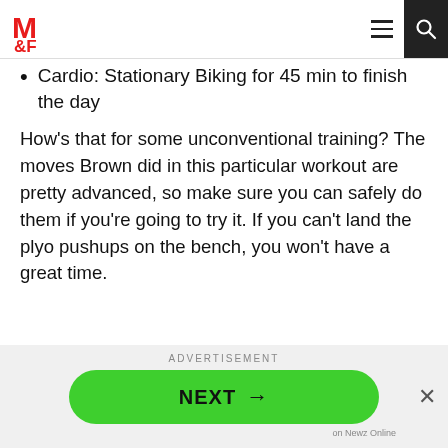M&F logo, hamburger menu, search
Cardio: Stationary Biking for 45 min to finish the day
How’s that for some unconventional training? The moves Brown did in this particular workout are pretty advanced, so make sure you can safely do them if you’re going to try it. If you can’t land the plyo pushups on the bench, you won’t have a great time.
[Figure (other): Advertisement banner with ADVERTISEMENT label, green NEXT button with arrow, X close button, and 'on Newz Online' label]